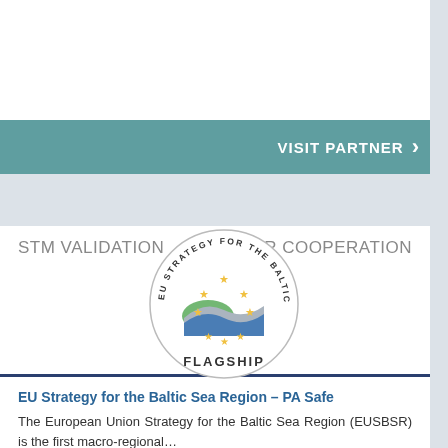VISIT PARTNER
STM VALIDATION
OTHER COOPERATION
[Figure (logo): EU Strategy for the Baltic Sea Region Flagship circular badge/seal with stars, wave graphic, and FLAGSHIP text]
EU Strategy for the Baltic Sea Region – PA Safe
The European Union Strategy for the Baltic Sea Region (EUSBSR) is the first macro-regional…
Read more